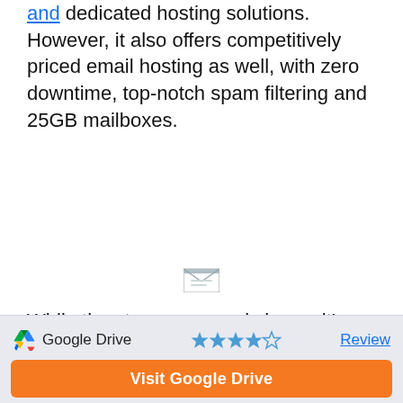and dedicated hosting solutions. However, it also offers competitively priced email hosting as well, with zero downtime, top-notch spam filtering and 25GB mailboxes.
[Figure (illustration): Small email envelope icon]
While the storage space is lower, it’s hard to pass up considering the cost. The standard plan only costs $1 per month, per user and offers the full range of Liquid Web features. You’ll be able to use any POP or IMAP mail client, or login through webmail with 25GB of
Google Drive  ★★★★☆  Review  Visit Google Drive